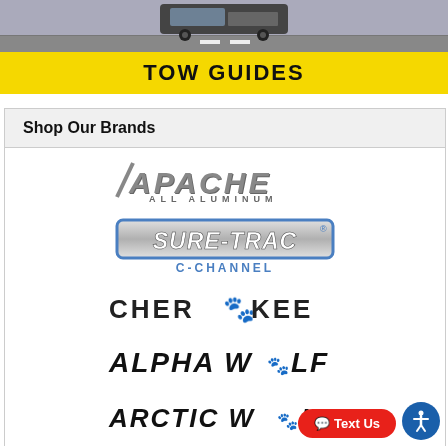[Figure (photo): Top portion of a truck/vehicle photo with road, cropped at top of page]
TOW GUIDES
Shop Our Brands
[Figure (logo): Apache All Aluminum logo - stylized italic silver text with slash, subtext ALL ALUMINUM]
[Figure (logo): Sure-Trac C-Channel logo - white italic text in blue-bordered metallic box, blue C-CHANNEL subtext]
[Figure (logo): Cherokee logo - bold black uppercase text with paw/feather graphic replacing letter E]
[Figure (logo): Alpha Wolf logo - bold black italic text with paw print replacing letter O]
[Figure (logo): Arctic Wolf logo - bold black italic text with paw print replacing letter O]